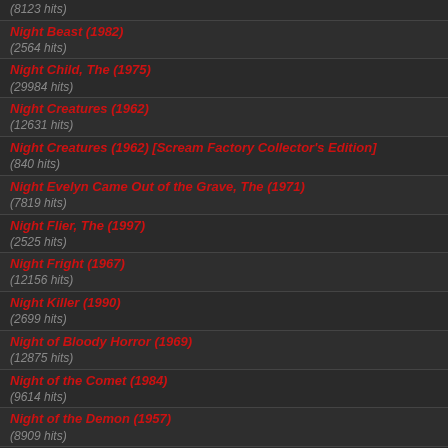(8123 hits)
Night Beast (1982)
(2564 hits)
Night Child, The (1975)
(29984 hits)
Night Creatures (1962)
(12631 hits)
Night Creatures (1962) [Scream Factory Collector's Edition]
(840 hits)
Night Evelyn Came Out of the Grave, The (1971)
(7819 hits)
Night Flier, The (1997)
(2525 hits)
Night Fright (1967)
(12156 hits)
Night Killer (1990)
(2699 hits)
Night of Bloody Horror (1969)
(12875 hits)
Night of the Comet (1984)
(9614 hits)
Night of the Demon (1957)
(8909 hits)
Night of the Demons (1980)
(15191 hits)
Night of the Demons (1988)
(17235 hits)
Night of the Demons (1988) [Collector's Edition]
(8818 hits)